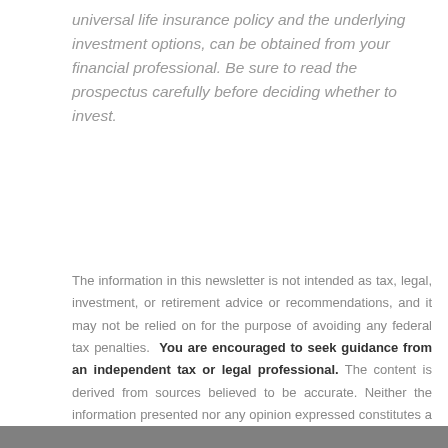universal life insurance policy and the underlying investment options, can be obtained from your financial professional. Be sure to read the prospectus carefully before deciding whether to invest.
The information in this newsletter is not intended as tax, legal, investment, or retirement advice or recommendations, and it may not be relied on for the purpose of avoiding any federal tax penalties. You are encouraged to seek guidance from an independent tax or legal professional. The content is derived from sources believed to be accurate. Neither the information presented nor any opinion expressed constitutes a solicitation for the purchase or sale of any security. This material was written and prepared by Broadridge Advisor Solutions. © 2022 Broadridge Financial Solutions, Inc.